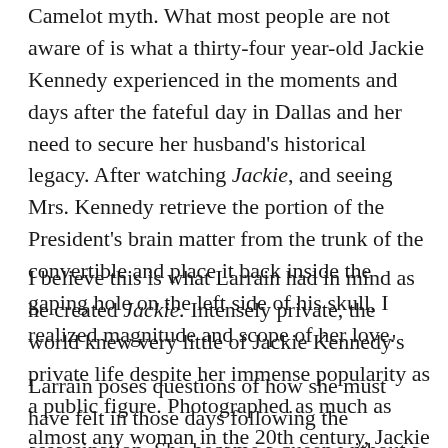Camelot myth. What most people are not aware of is what a thirty-four year-old Jackie Kennedy experienced in the moments and days after the fateful day in Dallas and her need to secure her husband's historical legacy. After watching Jackie, and seeing Mrs. Kennedy retrieve the portion of the President's brain matter from the trunk of the convertible and place it back inside the gaping hole on the left side of his skull, I realized magnitude and scope of her love.
I believe this is what Larrain had in mind as he created Jackie. Intensely private, the world knew very little of Jackie Kennedy's private life despite her immense popularity as a public figure. Photographed as much as almost any woman in the 20th century, Jackie emanated style and sophistication and evoked desire becoming known simply by her first name.
Larrain poses questions of how she must have felt in those days following the assassination. She became a queen without a crown. Her throne and her husband had been taken from her. She became a stranger among...